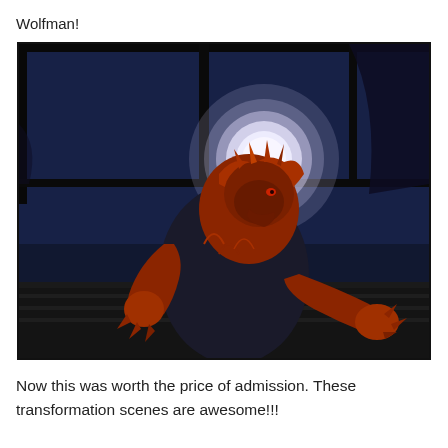Wolfman!
[Figure (illustration): Animated cartoon image of a wolfman/werewolf character with red/orange fur, crouching in a dark rooftop setting with a large glowing full moon in the background (purple-blue night sky). The character has a fierce expression and clawed hands.]
Now this was worth the price of admission. These transformation scenes are awesome!!!